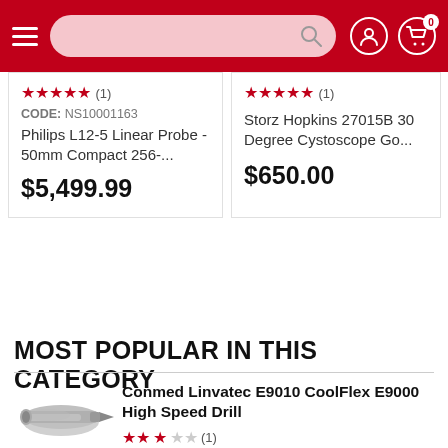Navigation bar with hamburger menu, search bar, account icon, and cart icon with badge 0
★★★★★ (1)
CODE: NS10001163
Philips L12-5 Linear Probe - 50mm Compact 256-...
$5,499.99
★★★★★ (1)
Storz Hopkins 27015B 30 Degree Cystoscope Go...
$650.00
MOST POPULAR IN THIS CATEGORY
[Figure (photo): High speed surgical drill tool - Conmed Linvatec E9010 CoolFlex E9000]
Conmed Linvatec E9010 CoolFlex E9000 High Speed Drill
★★★☆☆ (1)
CODE: NS10000565
$1,299.99  out of stock